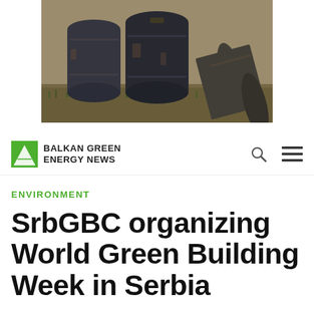[Figure (photo): Old rusted metal oil/chemical barrels/drums stacked outdoors in grass]
BALKAN GREEN ENERGY NEWS
ENVIRONMENT
SrbGBC organizing World Green Building Week in Serbia